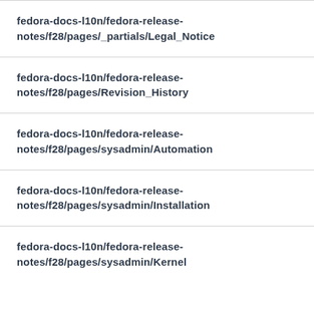fedora-docs-l10n/fedora-release-notes/f28/pages/_partials/Legal_Notice
fedora-docs-l10n/fedora-release-notes/f28/pages/Revision_History
fedora-docs-l10n/fedora-release-notes/f28/pages/sysadmin/Automation
fedora-docs-l10n/fedora-release-notes/f28/pages/sysadmin/Installation
fedora-docs-l10n/fedora-release-notes/f28/pages/sysadmin/Kernel